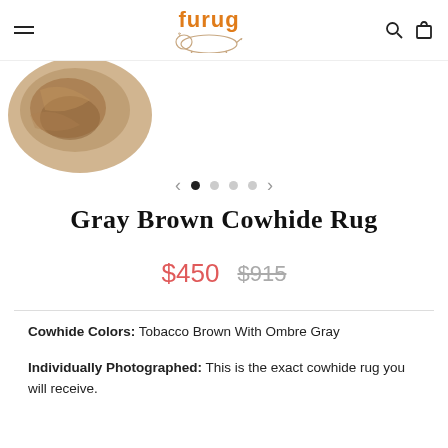furug
[Figure (photo): Partial view of a gray-brown cowhide rug in the upper-left corner of the product image carousel area]
< • ○ ○ ○ >
Gray Brown Cowhide Rug
$450  $915
Cowhide Colors: Tobacco Brown With Ombre Gray
Individually Photographed: This is the exact cowhide rug you will receive.